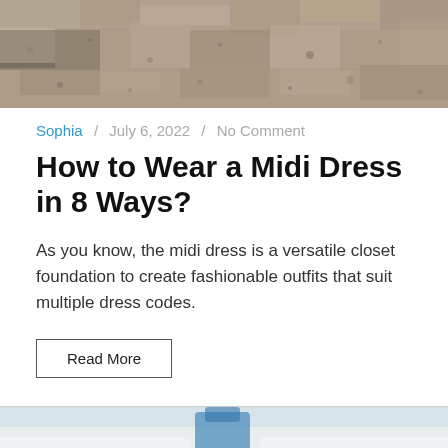[Figure (photo): Top portion of a photo showing sandy/gravelly ground texture in beige and brown tones, cropped at the top of the page.]
Sophia / July 6, 2022 / No Comment
How to Wear a Midi Dress in 8 Ways?
As you know, the midi dress is a versatile closet foundation to create fashionable outfits that suit multiple dress codes.
Read More
[Figure (photo): Bottom portion of a photo partially visible, showing a figure in blue clothing against a light/snowy background.]